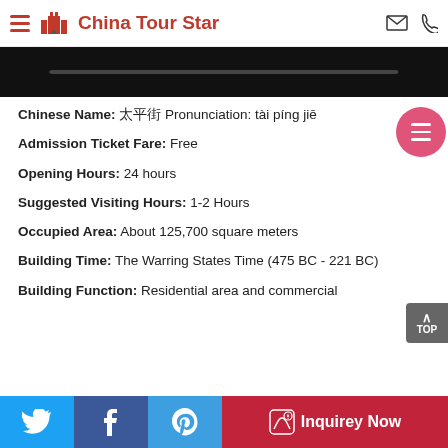China Tour Star
[Figure (screenshot): Dark banner image strip with a gray horizontal bar]
Chinese Name: 太平街 Pronunciation: tài píng jiē
Admission Ticket Fare: Free
Opening Hours: 24 hours
Suggested Visiting Hours: 1-2 Hours
Occupied Area: About 125,700 square meters
Building Time: The Warring States Time (475 BC - 221 BC)
Building Function: Residential area and commercial
Inquirey Now